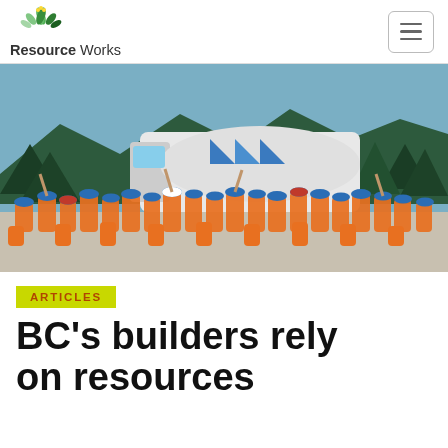Resource Works
[Figure (photo): Large group of construction workers wearing orange safety vests and blue/orange hard hats posing in front of a white tanker truck and semi-truck cab, with forested mountains in the background on a clear sunny day.]
ARTICLES
BC's builders rely on resources